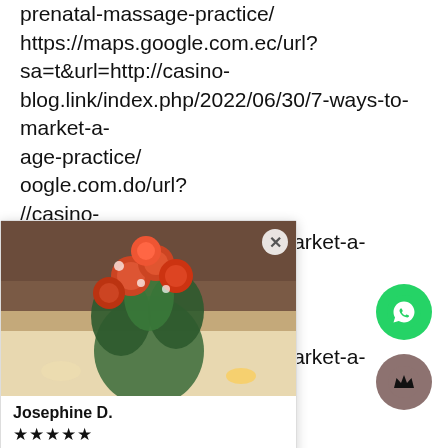prenatal-massage-practice/ https://maps.google.com.ec/url?sa=t&url=http://casino-blog.link/index.php/2022/06/30/7-ways-to-market-a-prenatal-massage-practice/ https://maps.google.com.do/url?sa=t&url=http://casino-blog.link/index.php/2022/06/30/7-ways-to-market-a-prenatal-massage-practice/ https://maps.google.com.cu/url?sa=t&url=http://casino-blog.link/index.php/2022/06/30/7-ways-to-market-a-prenatal-massage-practice/ https://maps.google.com.co/url?sa=t&url=http://casino-blog.link/index.php/2022/06/30/7-ways-to-market-a-prenatal-massage-practice/ https://maps.google.com.bz/url?
[Figure (photo): Popup card overlay showing a flower bouquet photo with orange roses and greenery, with a close (X) button, reviewer name 'Josephine D.' with 5 stars, review text 'Ordered this today for a dear Uncle and Au...', and footer with 'Spring Rose' item label and small icon.]